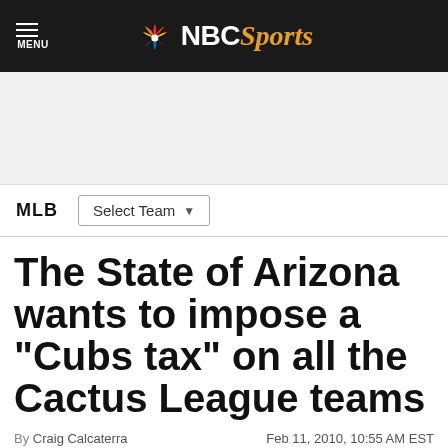NBC Sports
MLB  Select Team
The State of Arizona wants to impose a "Cubs tax" on all the Cactus League teams
By Craig Calcaterra  Feb 11, 2010, 10:55 AM EST